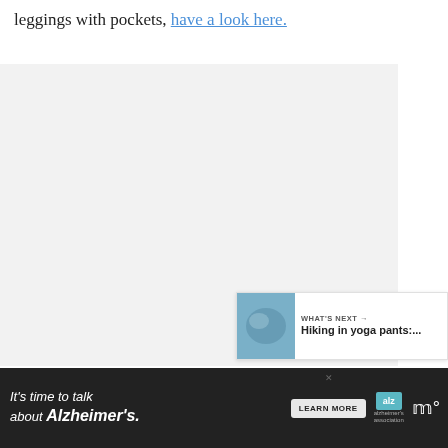leggings with pockets, have a look here.
[Figure (infographic): Advertisement banner for Cookies for Kids Cancer: 'turn your COOKIES into a CURE LEARN HOW' with green background and cookie logo]
[Figure (infographic): Social sharing UI: heart/like button (dark green circle with heart icon), count of 1, and share button]
[Figure (infographic): What's Next panel with thumbnail image and text: 'Hiking in yoga pants:...']
[Figure (infographic): Advertisement banner: 'It's time to talk about Alzheimer's.' with LEARN MORE button, Alzheimer's Association logo, and wifi icon]